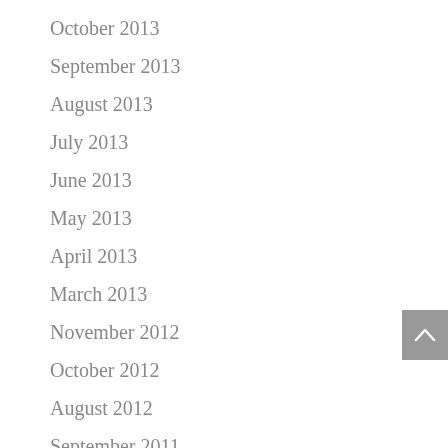October 2013
September 2013
August 2013
July 2013
June 2013
May 2013
April 2013
March 2013
November 2012
October 2012
August 2012
September 2011
June 2010